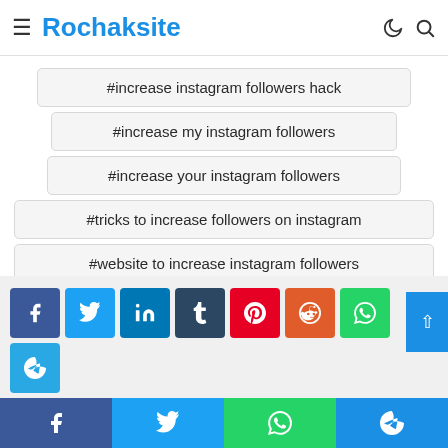Rochaksite
#increase instagram followers app
#increase instagram followers free
#increase instagram followers hack
#increase my instagram followers
#increase your instagram followers
#tricks to increase followers on instagram
#website to increase instagram followers
[Figure (screenshot): Social share buttons: Facebook, Twitter, LinkedIn, Tumblr, Pinterest, Reddit, WhatsApp, Telegram, Print]
[Figure (screenshot): Bottom bar share buttons: Facebook, Twitter, WhatsApp, Telegram]